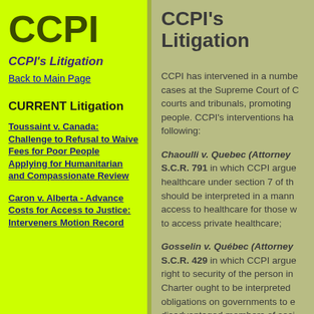CCPI
CCPI's Litigation
Back to Main Page
CURRENT Litigation
Toussaint v. Canada: Challenge to Refusal to Waive Fees for Poor People Applying for Humanitarian and Compassionate Review
Caron v. Alberta - Advance Costs for Access to Justice: Interveners Motion Record
CCPI's Litigation
CCPI has intervened in a number of cases at the Supreme Court of C... courts and tribunals, promoting ... people. CCPI's interventions ha... following:
Chaoulli v. Quebec (Attorney ... S.C.R. 791 in which CCPI argue... healthcare under section 7 of th... should be interpreted in a mann... access to healthcare for those w... to access private healthcare;
Gosselin v. Québec (Attorney ... S.C.R. 429 in which CCPI argue... right to security of the person in... Charter ought to be interpreted ... obligations on governments to e... disadvantaged members of soci... adequate food, clothing and hou...
R. v. Wu, [2003] 3 S.C.R. 530